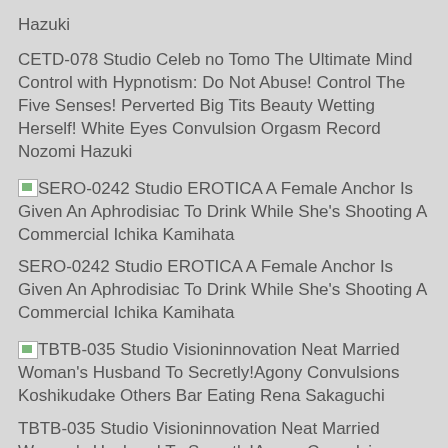Hazuki
CETD-078 Studio Celeb no Tomo The Ultimate Mind Control with Hypnotism: Do Not Abuse! Control The Five Senses! Perverted Big Tits Beauty Wetting Herself! White Eyes Convulsion Orgasm Record Nozomi Hazuki
[image] SERO-0242 Studio EROTICA A Female Anchor Is Given An Aphrodisiac To Drink While She's Shooting A Commercial Ichika Kamihata
SERO-0242 Studio EROTICA A Female Anchor Is Given An Aphrodisiac To Drink While She's Shooting A Commercial Ichika Kamihata
[image] TBTB-035 Studio Visioninnovation Neat Married Woman's Husband To Secretly!Agony Convulsions Koshikudake Others Bar Eating Rena Sakaguchi
TBTB-035 Studio Visioninnovation Neat Married Woman's Husband To Secretly!Agony Convulsions Koshikudake Others Bar Eating Rena Sakaguchi